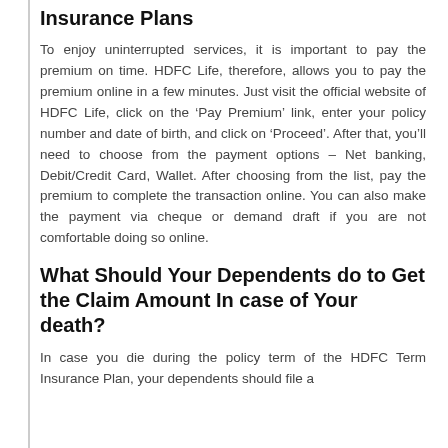Insurance Plans
To enjoy uninterrupted services, it is important to pay the premium on time. HDFC Life, therefore, allows you to pay the premium online in a few minutes. Just visit the official website of HDFC Life, click on the ‘Pay Premium’ link, enter your policy number and date of birth, and click on ‘Proceed’. After that, you’ll need to choose from the payment options – Net banking, Debit/Credit Card, Wallet. After choosing from the list, pay the premium to complete the transaction online. You can also make the payment via cheque or demand draft if you are not comfortable doing so online.
What Should Your Dependents do to Get the Claim Amount In case of Your death?
In case you die during the policy term of the HDFC Term Insurance Plan, your dependents should file a